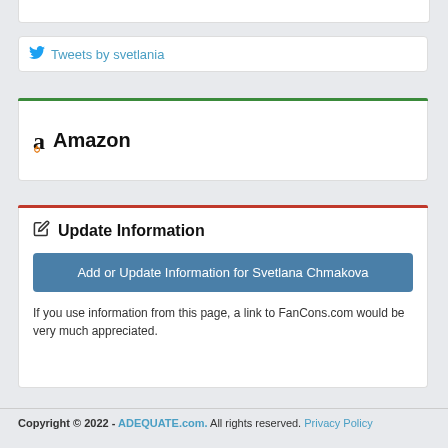[Figure (screenshot): Twitter widget box with bird icon and 'Tweets by svetlania' link]
Amazon
Update Information
Add or Update Information for Svetlana Chmakova
If you use information from this page, a link to FanCons.com would be very much appreciated.
Copyright © 2022 - ADEQUATE.com. All rights reserved. Privacy Policy